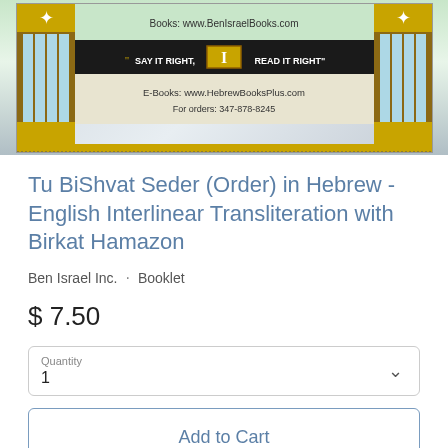[Figure (illustration): Book cover banner for Ben Israel Books showing 'SAY IT RIGHT, READ IT RIGHT' slogan with decorative columns, website URLs and phone number]
Tu BiShvat Seder (Order) in Hebrew - English Interlinear Transliteration with Birkat Hamazon
Ben Israel Inc.  ·  Booklet
$ 7.50
Quantity
1
Add to Cart
Pickup available at Main Street
Usually ready in 24 hours